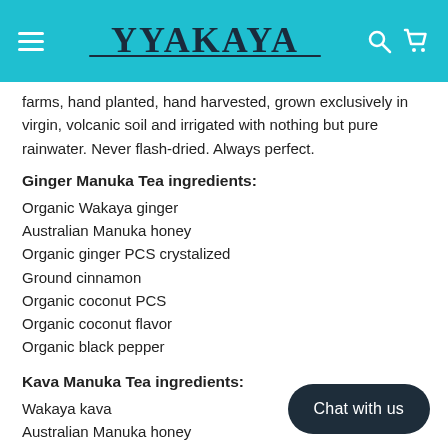WAKAYA
farms, hand planted, hand harvested, grown exclusively in virgin, volcanic soil and irrigated with nothing but pure rainwater. Never flash-dried. Always perfect.
Ginger Manuka Tea ingredients:
Organic Wakaya ginger
Australian Manuka honey
Organic ginger PCS crystalized
Ground cinnamon
Organic coconut PCS
Organic coconut flavor
Organic black pepper
Kava Manuka Tea ingredients:
Wakaya kava
Australian Manuka honey
Organic cardamom seeds